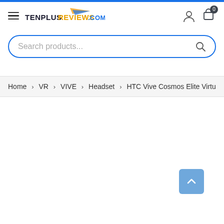TenplusReviews.com header with logo, hamburger menu, user icon, cart icon
Search products...
Home > VR > VIVE > Headset > HTC Vive Cosmos Elite Virtu...